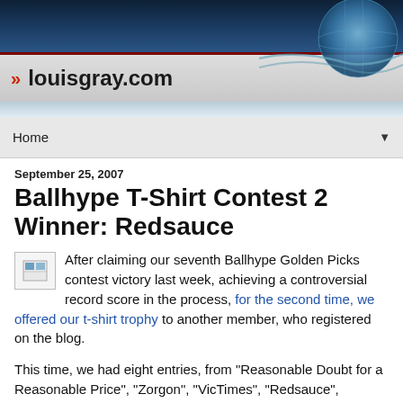[Figure (screenshot): louisgray.com website header banner with dark blue gradient background, red accent bar, site logo text, and globe graphic on the right]
Home ▼
September 25, 2007
Ballhype T-Shirt Contest 2 Winner: Redsauce
After claiming our seventh Ballhype Golden Picks contest victory last week, achieving a controversial record score in the process, for the second time, we offered our t-shirt trophy to another member, who registered on the blog.
This time, we had eight entries, from "Reasonable Doubt for a Reasonable Price", "Zorgon", "VicTimes", "Redsauce", "Chone", "Patrick", "GREGSKY" and "Jason", the site's co-